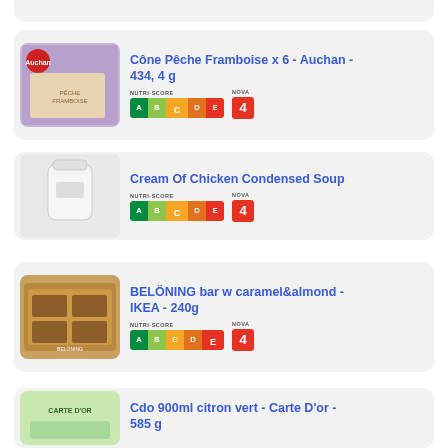[Figure (screenshot): Partial top product card cut off at top of page]
Côme Pêche Framboise x 6 - Auchan - 434, 4 g
[Figure (infographic): Nutri-Score C and NOVA 4 badges for Côme Pêche Framboise]
Cream Of Chicken Condensed Soup
[Figure (infographic): Nutri-Score C and NOVA 4 badges for Cream Of Chicken Condensed Soup]
BELÖNING bar w caramel&almond - IKEA - 240g
[Figure (infographic): Nutri-Score E and NOVA 4 badges for BELÖNING bar]
Cdo 900ml citron vert - Carte D'or - 585 g